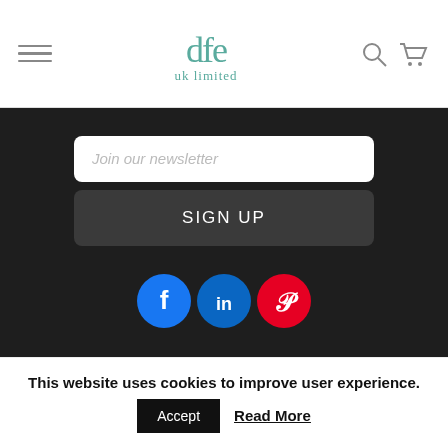[Figure (logo): dfe uk limited logo in teal/green serif font at center of header]
[Figure (illustration): Newsletter sign-up form with email input field and SIGN UP button on dark background]
[Figure (infographic): Social media icons: Facebook (blue), LinkedIn (blue), Pinterest (red)]
© 2020 Furniture For Schools | dfe (UK) Limited, Unit 2 Kensington Court, 108 Manor Road, WALLINGTON, Surrey, SM6 0DW | Company registration
This website uses cookies to improve user experience.
Accept   Read More